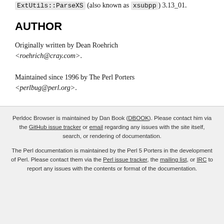ExtUtils::ParseXS (also known as xsubpp) 3.13_01.
AUTHOR
Originally written by Dean Roehrich <roehrich@cray.com>.
Maintained since 1996 by The Perl Porters <perlbug@perl.org>.
Perldoc Browser is maintained by Dan Book (DBOOK). Please contact him via the GitHub issue tracker or email regarding any issues with the site itself, search, or rendering of documentation. The Perl documentation is maintained by the Perl 5 Porters in the development of Perl. Please contact them via the Perl issue tracker, the mailing list, or IRC to report any issues with the contents or format of the documentation.